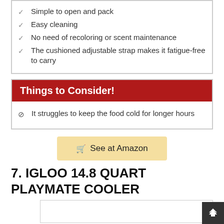Simple to open and pack
Easy cleaning
No need of recoloring or scent maintenance
The cushioned adjustable strap makes it fatigue-free to carry
Things to Consider!
It struggles to keep the food cold for longer hours
See at Amazon
7. IGLOO 14.8 QUART PLAYMATE COOLER